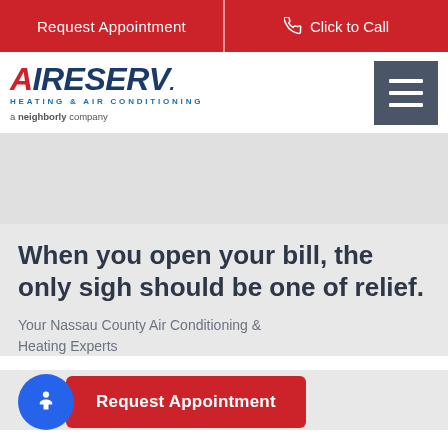Request Appointment | Click to Call
[Figure (logo): Aire Serv Heating & Air Conditioning - a Neighborly company logo]
When you open your bill, the only sigh should be one of relief.
Your Nassau County Air Conditioning & Heating Experts
Request Appointment